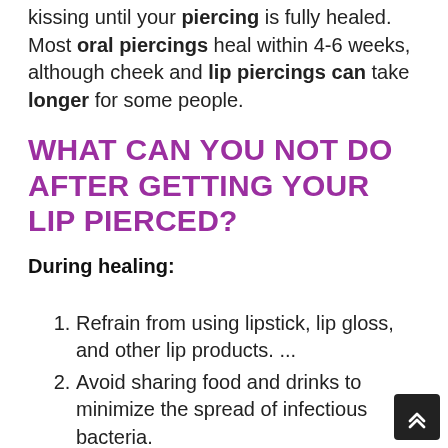kissing until your piercing is fully healed. Most oral piercings heal within 4-6 weeks, although cheek and lip piercings can take longer for some people.
WHAT CAN YOU NOT DO AFTER GETTING YOUR LIP PIERCED?
During healing:
Refrain from using lipstick, lip gloss, and other lip products. ...
Avoid sharing food and drinks to minimize the spread of infectious bacteria.
Avoid open-mouth kissing and oral sex to